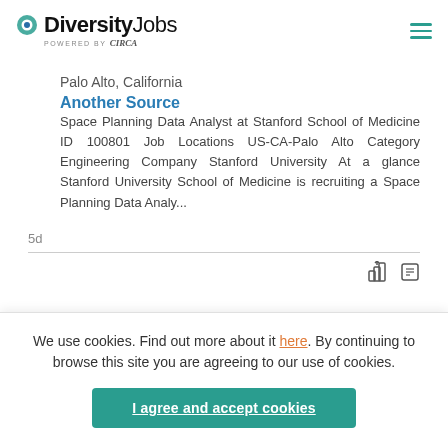DiversityJobs powered by Circa
Palo Alto, California
Another Source
Space Planning Data Analyst at Stanford School of Medicine ID 100801 Job Locations US-CA-Palo Alto Category Engineering Company Stanford University At a glance Stanford University School of Medicine is recruiting a Space Planning Data Analy...
5d
We use cookies. Find out more about it here. By continuing to browse this site you are agreeing to our use of cookies.
I agree and accept cookies